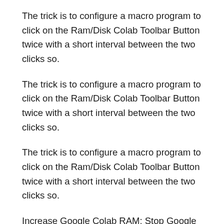The trick is to configure a macro program to click on the Ram/Disk Colab Toolbar Button twice with a short interval between the two clicks so.
The trick is to configure a macro program to click on the Ram/Disk Colab Toolbar Button twice with a short interval between the two clicks so.
The trick is to configure a macro program to click on the Ram/Disk Colab Toolbar Button twice with a short interval between the two clicks so.
Increase Google Colab RAM; Stop Google Colab From Disconnecting; Snippets in Google Colab; Top Keyboard Shortcuts for Google Colab; Modes in.
prevent colab timeout Code Answer's. how to stop google colab from disconnecting how to make sure that google colab continues to run the code.